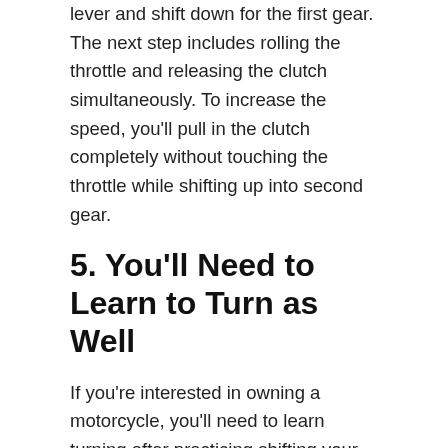lever and shift down for the first gear. The next step includes rolling the throttle and releasing the clutch simultaneously. To increase the speed, you'll pull in the clutch completely without touching the throttle while shifting up into second gear.
5. You'll Need to Learn to Turn as Well
If you're interested in owning a motorcycle, you'll need to learn turning after practicing shifting your gears. Lean into turns while gently turning the handlebars. Remember to keep the throttle steady.
All the Tips You Need for Riding a Motorcycle
Riding a motorcycle is inde...